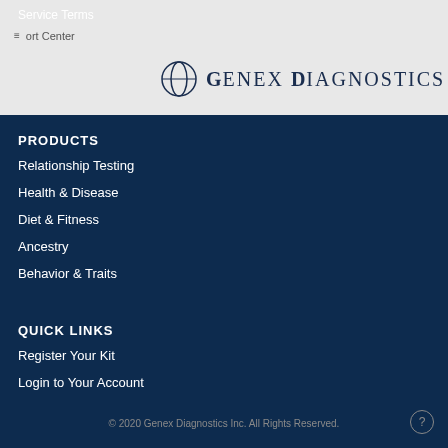Service Terms
≡port Center  GENEX DIAGNOSTICS
PRODUCTS
Relationship Testing
Health & Disease
Diet & Fitness
Ancestry
Behavior & Traits
QUICK LINKS
Register Your Kit
Login to Your Account
How It Works
Benefits
© 2020 Genex Diagnostics Inc. All Rights Reserved.